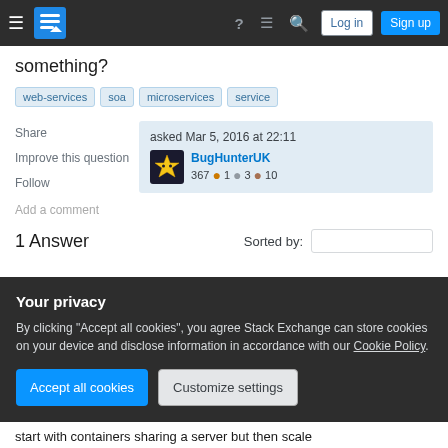Stack Exchange navigation bar with Log in and Sign up buttons
something?
web-services
soa
microservices
service
Share
Improve this question
Follow
asked Mar 5, 2016 at 22:11
BugHunterUK
367 ●1 ●3 ●10
Add a comment
1 Answer
Sorted by:
Your privacy
By clicking "Accept all cookies", you agree Stack Exchange can store cookies on your device and disclose information in accordance with our Cookie Policy.
Accept all cookies
Customize settings
start with containers sharing a server but then scale